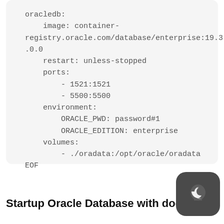oracledb:
    image: container-registry.oracle.com/database/enterprise:19.3.0.0
    restart: unless-stopped
    ports:
        - 1521:1521
        - 5500:5500
    environment:
        ORACLE_PWD: password#1
        ORACLE_EDITION: enterprise
    volumes:
        - ./oradata:/opt/oracle/oradata
EOF
Startup Oracle Database with docker-compose